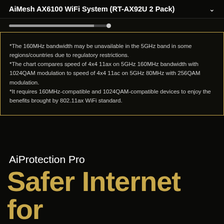AiMesh AX6100 WiFi System (RT-AX92U 2 Pack)
[Figure (screenshot): Slider bar partially filled, dark background with gold border box]
*The 160MHz bandwidth may be unavailable in the 5GHz band in some regions/countries due to regulatory restrictions.
*The chart compares speed of 4x4 11ax on 5GHz 160MHz bandwidth with 1024QAM modulation to speed of 4x4 11ac on 5GHz 80MHz with 256QAM modulation.
*It requires 160MHz-compatible and 1024QAM-compatible devices to enjoy the benefits brought by 802.11ax WiFi standard.
AiProtection Pro
Safer Internet for